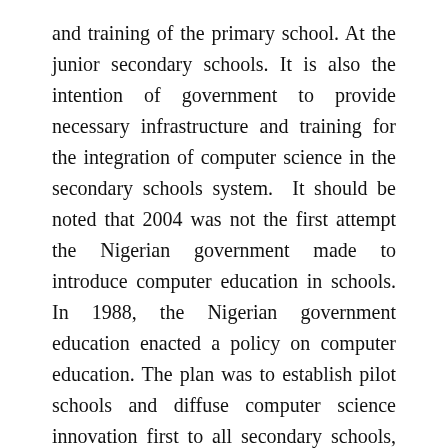and training of the primary school. At the junior secondary schools. It is also the intention of government to provide necessary infrastructure and training for the integration of computer science in the secondary schools system. It should be noted that 2004 was not the first attempt the Nigerian government made to introduce computer education in schools. In 1988, the Nigerian government education enacted a policy on computer education. The plan was to establish pilot schools and diffuse computer science innovation first to all secondary schools, and then to primary schools.
Unfortunately, the project did not really take beyond the distribution and installation of personal computers (Okebukola, 1997). Aduwa and Iyamu